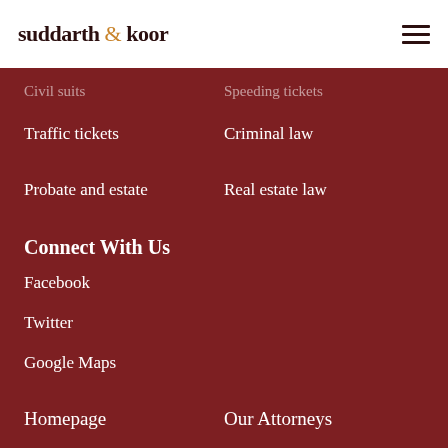suddarth & koor
Traffic tickets
Criminal law
Probate and estate
Real estate law
Connect With Us
Facebook
Twitter
Google Maps
Homepage
Our Attorneys